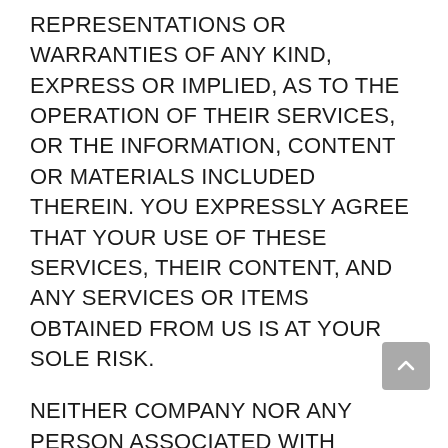REPRESENTATIONS OR WARRANTIES OF ANY KIND, EXPRESS OR IMPLIED, AS TO THE OPERATION OF THEIR SERVICES, OR THE INFORMATION, CONTENT OR MATERIALS INCLUDED THEREIN. YOU EXPRESSLY AGREE THAT YOUR USE OF THESE SERVICES, THEIR CONTENT, AND ANY SERVICES OR ITEMS OBTAINED FROM US IS AT YOUR SOLE RISK.
NEITHER COMPANY NOR ANY PERSON ASSOCIATED WITH COMPANY MAKES ANY WARRANTY OR REPRESENTATION WITH RESPECT TO THE COMPLETENESS, SECURITY, RELIABILITY, QUALITY, ACCURACY, OR AVAILABILITY OF THE SERVICES. WITHOUT LIMITING THE FOREGOING, NEITHER COMPANY NOR ANYONE ASSOCIATED WITH COMPANY REPRESENTS OR WARRANTS THAT